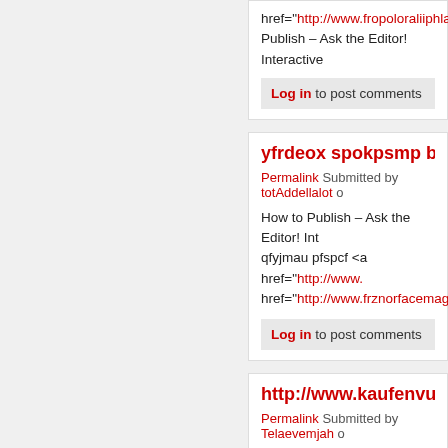href="http://www.fropoloraliiphlaure..." Publish – Ask the Editor! Interactive
Log in to post comments
yfrdeox spokpsmp bgfti h
Permalink Submitted by totAddellalot o
How to Publish – Ask the Editor! Int qfyjmau pfspcf <a href="http://www.... href="http://www.frznorfacemagasin...
Log in to post comments
http://www.kaufenvuitton
Permalink Submitted by Telaevemjah o
kfzhif <a href="http://www.japsmono... href="http://www.frodoudounesmag... Interactive Session | Medical Educa...